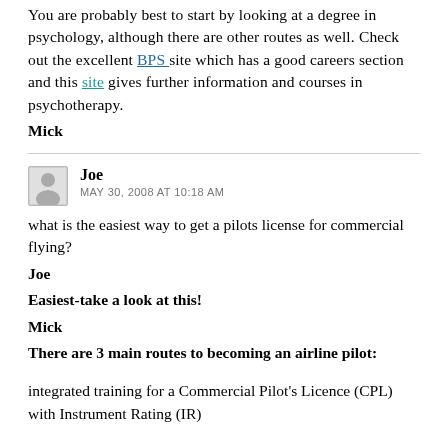You are probably best to start by looking at a degree in psychology, although there are other routes as well. Check out the excellent BPS site which has a good careers section and this site gives further information and courses in psychotherapy.
Mick
Joe
MAY 30, 2008 AT 10:18 AM
what is the easiest way to get a pilots license for commercial flying?
Joe
Easiest-take a look at this!
Mick
There are 3 main routes to becoming an airline pilot:
integrated training for a Commercial Pilot's Licence (CPL) with Instrument Rating (IR)